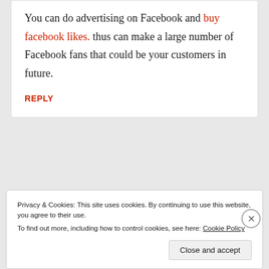You can do advertising on Facebook and buy facebook likes. thus can make a large number of Facebook fans that could be your customers in future.
REPLY
Privacy & Cookies: This site uses cookies. By continuing to use this website, you agree to their use.
To find out more, including how to control cookies, see here: Cookie Policy